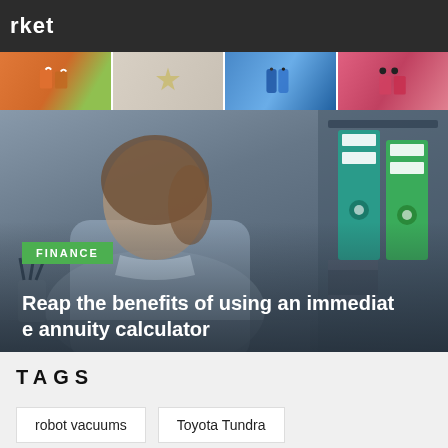rket
[Figure (photo): Hero image showing a businesswoman in a blue shirt at a desk, with a collage strip of product images at the top (orange items, a trophy/award figurine, blue phone cases, pink/red items), and binders/folders on the right side. Green 'FINANCE' label badge overlaid. White title text reading 'Reap the benefits of using an immediate annuity calculator'.]
TAGS
robot vacuums
Toyota Tundra